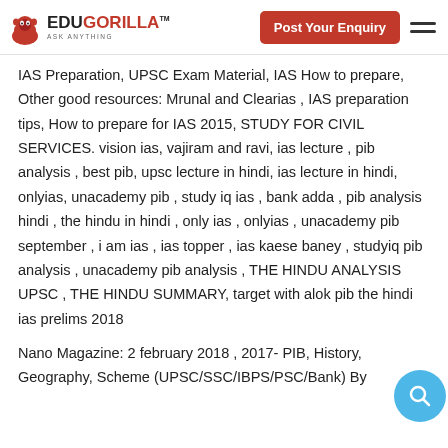EduGorilla — Post Your Enquiry
IAS Preparation, UPSC Exam Material, IAS How to prepare, Other good resources: Mrunal and Clearias , IAS preparation tips, How to prepare for IAS 2015, STUDY FOR CIVIL SERVICES. vision ias, vajiram and ravi, ias lecture , pib analysis , best pib, upsc lecture in hindi, ias lecture in hindi, onlyias, unacademy pib , study iq ias , bank adda , pib analysis hindi , the hindu in hindi , only ias , onlyias , unacademy pib september , i am ias , ias topper , ias kaese baney , studyiq pib analysis , unacademy pib analysis , THE HINDU ANALYSIS UPSC , THE HINDU SUMMARY, target with alok pib the hindi ias prelims 2018
Nano Magazine: 2 february 2018 , 2017- PIB, History, Geography, Scheme (UPSC/SSC/IBPS/PSC/Bank) By